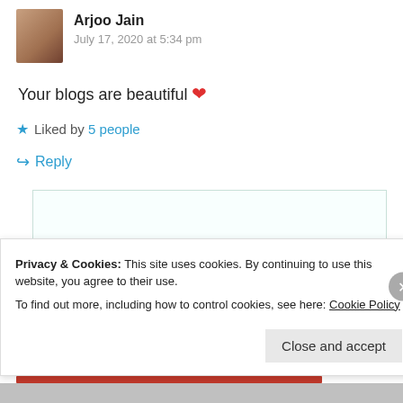Arjoo Jain
July 17, 2020 at 5:34 pm
Your blogs are beautiful ❤
Liked by 5 people
Reply
P@rth... 😊
Privacy & Cookies: This site uses cookies. By continuing to use this website, you agree to their use. To find out more, including how to control cookies, see here: Cookie Policy
Close and accept